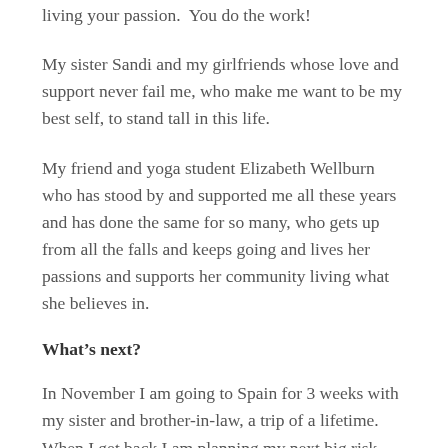living your passion.  You do the work!
My sister Sandi and my girlfriends whose love and support never fail me, who make me want to be my best self, to stand tall in this life.
My friend and yoga student Elizabeth Wellburn who has stood by and supported me all these years and has done the same for so many, who gets up from all the falls and keeps going and lives her passions and supports her community living what she believes in.
What’s next?
In November I am going to Spain for 3 weeks with my sister and brother-in-law, a trip of a lifetime.  When I get back I am planning my next big risk and challenge and